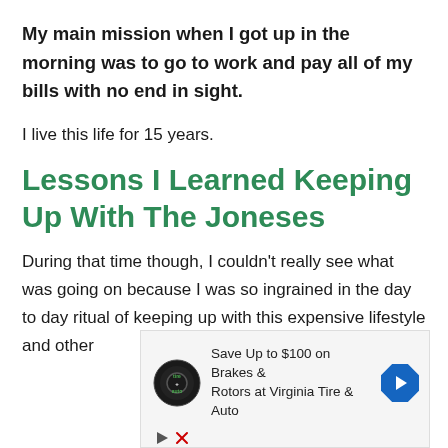My main mission when I got up in the morning was to go to work and pay all of my bills with no end in sight.
I live this life for 15 years.
Lessons I Learned Keeping Up With The Joneses
During that time though, I couldn't really see what was going on because I was so ingrained in the day to day ritual of keeping up with this expensive lifestyle and other
[Figure (other): Advertisement banner for Virginia Tire & Auto showing logo, text 'Save Up to $100 on Brakes & Rotors at Virginia Tire & Auto', and a navigation arrow icon. Below are play and close (X) control icons.]